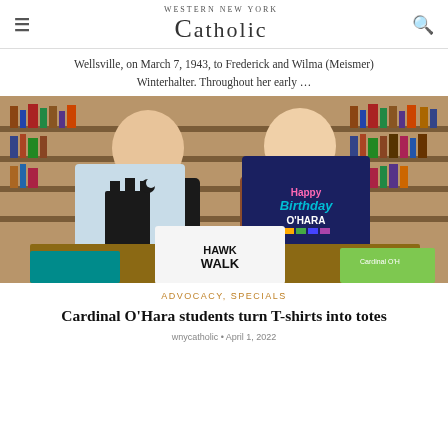Western New York Catholic
Wellsville, on March 7, 1943, to Frederick and Wilma (Meismer) Winterhalter. Throughout her early …
[Figure (photo): Two students in a library holding up T-shirts, with additional T-shirts on a table in front of them. The shirts include a light blue shirt with a castle design, a navy shirt reading 'Happy Birthday O'Hara', and a white shirt with 'HAWK WALK' text.]
ADVOCACY, SPECIALS
Cardinal O'Hara students turn T-shirts into totes
wnycatholic • April 1, 2022